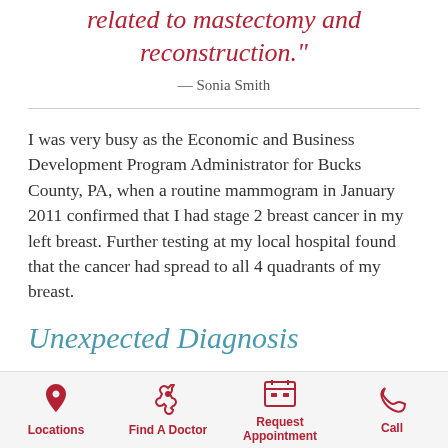related to mastectomy and reconstruction."
— Sonia Smith
I was very busy as the Economic and Business Development Program Administrator for Bucks County, PA, when a routine mammogram in January 2011 confirmed that I had stage 2 breast cancer in my left breast. Further testing at my local hospital found that the cancer had spread to all 4 quadrants of my breast.
Unexpected Diagnosis
Locations | Find A Doctor | Request Appointment | Call